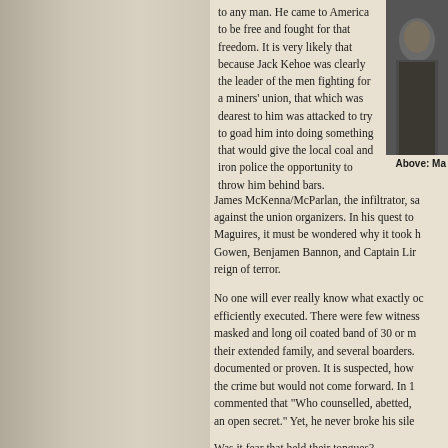to any man.  He came to America to be free and fought for that freedom.  It is very likely that because Jack Kehoe was clearly the leader of the men fighting for a miners' union, that which was dearest to him was attacked to try to goad him into doing something that would give the local coal and iron police the opportunity to throw him behind bars.
[Figure (photo): Black and white photograph of a man, partially visible on the right side of the page]
Above: Ma
James McKenna/McParlan, the infiltrator, sa against the union organizers.  In his quest to Maguires, it must be wondered why it took h Gowen, Benjamen Bannon, and Captain Lir reign of terror.
No one will ever really know what exactly oc efficiently executed.  There were few witness masked and long oil coated band of 30 or m their extended family, and several boarders. documented or proven. It is suspected, how the crime but would not come forward.  In 1 commented that "Who counselled, abetted, an open secret." Yet, he never broke his sile
Was it fear that held their tongues?